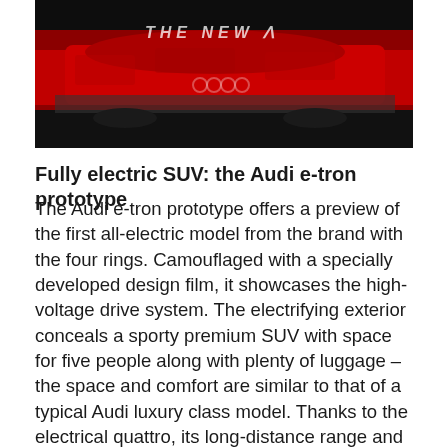[Figure (photo): Partially visible red Audi e-tron prototype car with camouflage design film, shot in a dark environment. Reflected text 'THE NEW' visible on a surface.]
Fully electric SUV: the Audi e-tron prototype
The Audi e-tron prototype offers a preview of the first all-electric model from the brand with the four rings. Camouflaged with a specially developed design film, it showcases the high-voltage drive system. The electrifying exterior conceals a sporty premium SUV with space for five people along with plenty of luggage – the space and comfort are similar to that of a typical Audi luxury class model. Thanks to the electrical quattro, its long-distance range and comprehensive charging options, customers can drive purely electrically without compromises. The production version of the Audi e-tron prototype fills our electricity at fast...